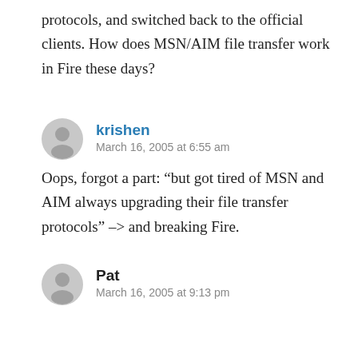protocols, and switched back to the official clients. How does MSN/AIM file transfer work in Fire these days?
krishen
March 16, 2005 at 6:55 am
Oops, forgot a part: “but got tired of MSN and AIM always upgrading their file transfer protocols” –> and breaking Fire.
Pat
March 16, 2005 at 9:13 pm